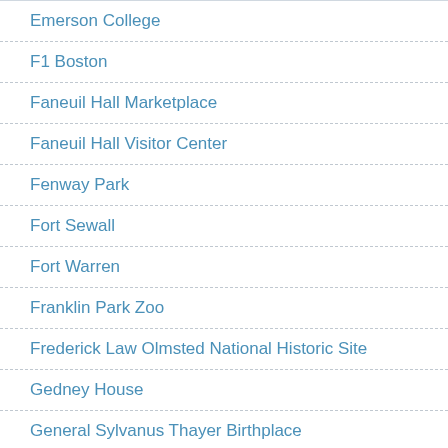Emerson College
F1 Boston
Faneuil Hall Marketplace
Faneuil Hall Visitor Center
Fenway Park
Fort Sewall
Fort Warren
Franklin Park Zoo
Frederick Law Olmsted National Historic Site
Gedney House
General Sylvanus Thayer Birthplace
George Washington Statue
Gibson House Museum